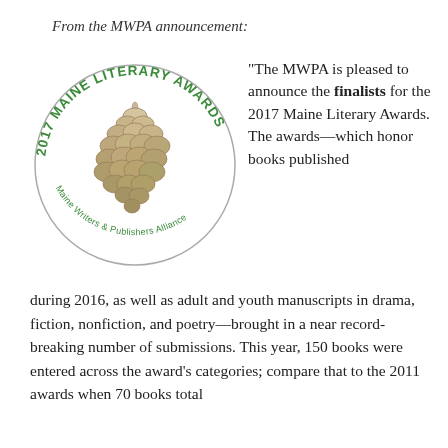From the MWPA announcement:
[Figure (logo): 2017 Maine Literary Awards circular logo with pine cone illustration in the center. Green text reads '2017 MAINE LITERARY AWARDS' around the top arc, and 'Maine Writers & Publishers Alliance' around the bottom arc. A detailed pen-and-ink style pine cone is illustrated in the center.]
“The MWPA is pleased to announce the finalists for the 2017 Maine Literary Awards. The awards—which honor books published during 2016, as well as adult and youth manuscripts in drama, fiction, nonfiction, and poetry—brought in a near record-breaking number of submissions. This year, 150 books were entered across the award’s categories; compare that to the 2011 awards when 70 books total